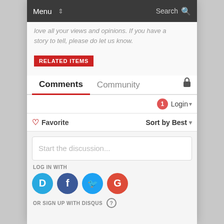Menu  Search
love all your views and opinions. If you have a story to tell, please do let us know.
RELATED ITEMS
Comments  Community
1  Login
♡ Favorite   Sort by Best
Start the discussion...
LOG IN WITH
[Figure (infographic): Four social login icons: Disqus (D, blue), Facebook (f, dark blue), Twitter (bird, light blue), Google (G, red)]
OR SIGN UP WITH DISQUS ?